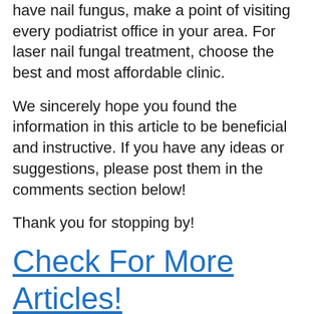have nail fungus, make a point of visiting every podiatrist office in your area. For laser nail fungal treatment, choose the best and most affordable clinic.
We sincerely hope you found the information in this article to be beneficial and instructive. If you have any ideas or suggestions, please post them in the comments section below!
Thank you for stopping by!
Check For More Articles!